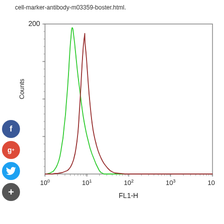cell-marker-antibody-m03359-boster.html.
[Figure (continuous-plot): Flow cytometry histogram showing two overlapping bell-shaped curves on a log-scale x-axis (FL1-H, 10^0 to 10^4) and linear y-axis (Counts, 0 to 200). A green curve peaks near 10^1 at ~195 counts and a red/dark-red curve peaks slightly to the right of the green curve at ~175 counts. Both curves are narrow and tall, typical of flow cytometry data.]